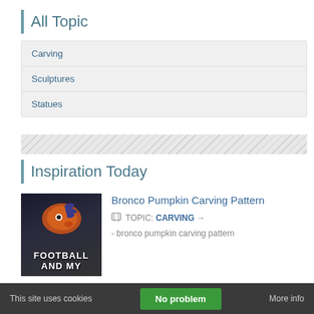All Topic
Carving
Sculptures
Statues
Inspiration Today
Bronco Pumpkin Carving Pattern
TOPIC: CARVING →
- bronco pumpkin carving pattern
[Figure (photo): Bronco NFL logo with text FOOTBALL AND MY on dark background]
Outdoor Art Sculptures for Sale
[Figure (photo): Outdoor sculpture thumbnail]
This site uses cookies
No problem
More info